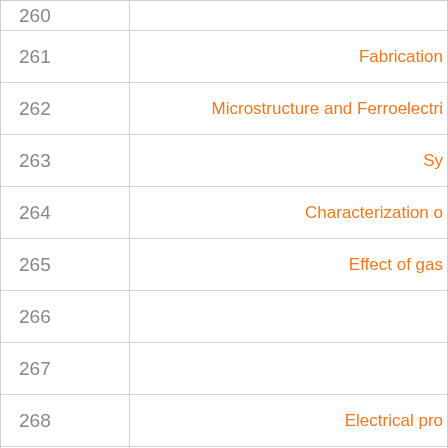| Page | Title |
| --- | --- |
| 260 |  |
| 261 | Fabrication |
| 262 | Microstructure and Ferroelectri |
| 263 | Sy |
| 264 | Characterization o |
| 265 | Effect of gas |
| 266 |  |
| 267 |  |
| 268 | Electrical pro |
|  |  |